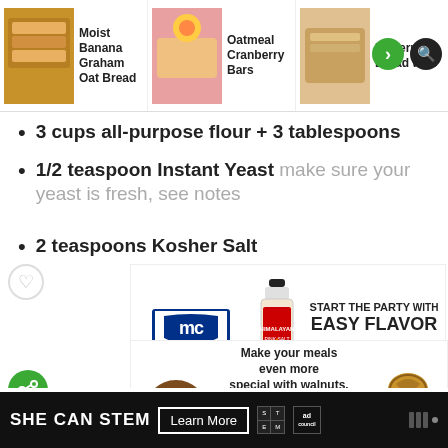Moist Banana Graham Oat Bread | Oatmeal Cranberry Bars | Buttermilk Bread with
3 cups all-purpose flour + 3 tablespoons
1/2 teaspoon Instant Yeast make sure your yeast is fresh, see notes
2 teaspoons Kosher Salt
[Figure (infographic): McCormick advertisement: IT'S GONNA BE GREAT. START THE PARTY WITH EASY FLAVOR. SHOP NOW. SAFEWAY.]
1 cup walnuts chopped
[Figure (infographic): California Walnuts advertisement: Make your meals even more special with walnuts. Do more with walnuts. LEARN MORE.]
1 cup dried cranberries or replace with
[Figure (infographic): SHE CAN STEM advertisement. Learn More. Ad Council.]